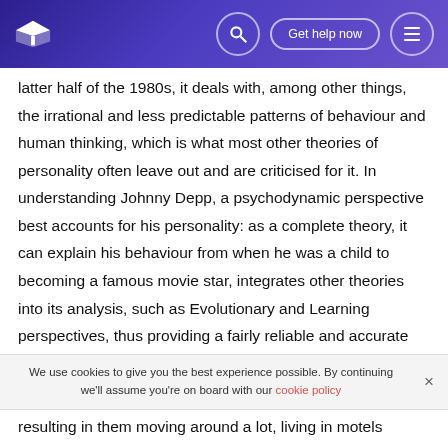Get help now
latter half of the 1980s, it deals with, among other things, the irrational and less predictable patterns of behaviour and human thinking, which is what most other theories of personality often leave out and are criticised for it. In understanding Johnny Depp, a psychodynamic perspective best accounts for his personality: as a complete theory, it can explain his behaviour from when he was a child to becoming a famous movie star, integrates other theories into its analysis, such as Evolutionary and Learning perspectives, thus providing a fairly reliable and accurate interpretation of his personality. As a kid, Johnny Depp had a troublesome childhood. His father was continually
We use cookies to give you the best experience possible. By continuing we'll assume you're on board with our cookie policy
resulting in them moving around a lot, living in motels